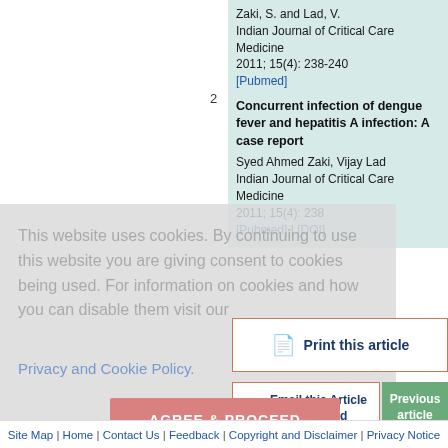Zaki, S. and Lad, V.
Indian Journal of Critical Care Medicine
2011; 15(4): 238-240
[Pubmed]
2
Concurrent infection of dengue fever and hepatitis A infection: A case report
Syed Ahmed Zaki, Vijay Lad
Indian Journal of Critical Care Medicine
2011; 15(4): 238
[Pubmed] | [DOI]
This website uses cookies. By continuing to use this website you are giving consent to cookies being used. For information on cookies and how you can disable them visit our
Privacy and Cookie Policy.
Print this article
Email this Article to your friend
Previous article
AGREE & PROCEED
Site Map | Home | Contact Us | Feedback | Copyright and Disclaimer | Privacy Notice